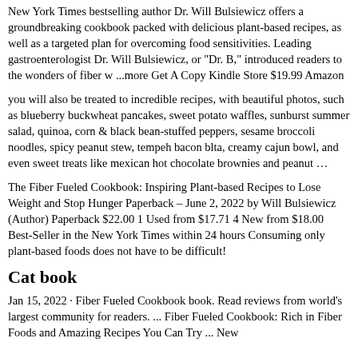New York Times bestselling author Dr. Will Bulsiewicz offers a groundbreaking cookbook packed with delicious plant-based recipes, as well as a targeted plan for overcoming food sensitivities. Leading gastroenterologist Dr. Will Bulsiewicz, or "Dr. B," introduced readers to the wonders of fiber w ...more Get A Copy Kindle Store $19.99 Amazon
you will also be treated to incredible recipes, with beautiful photos, such as blueberry buckwheat pancakes, sweet potato waffles, sunburst summer salad, quinoa, corn & black bean-stuffed peppers, sesame broccoli noodles, spicy peanut stew, tempeh bacon blta, creamy cajun bowl, and even sweet treats like mexican hot chocolate brownies and peanut …
The Fiber Fueled Cookbook: Inspiring Plant-based Recipes to Lose Weight and Stop Hunger Paperback – June 2, 2022 by Will Bulsiewicz (Author) Paperback $22.00 1 Used from $17.71 4 New from $18.00 Best-Seller in the New York Times within 24 hours Consuming only plant-based foods does not have to be difficult!
Cat book
Jan 15, 2022 · Fiber Fueled Cookbook book. Read reviews from world's largest community for readers. ... Fiber Fueled Cookbook: Rich in Fiber Foods and Amazing Recipes You Can Try ... New